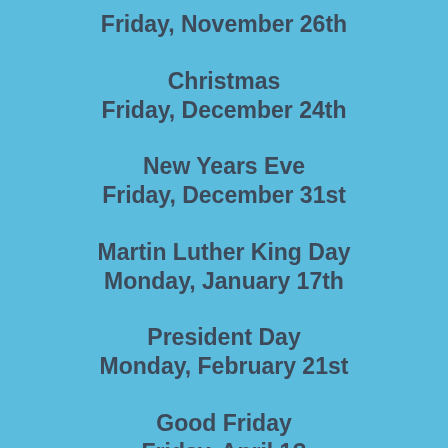Friday, November 26th
Christmas
Friday, December 24th
New Years Eve
Friday, December 31st
Martin Luther King Day
Monday, January 17th
President Day
Monday, February 21st
Good Friday
Friday, April 1?